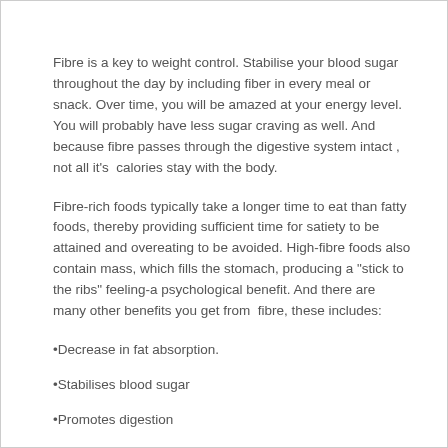Fibre is a key to weight control. Stabilise your blood sugar throughout the day by including fiber in every meal or snack. Over time, you will be amazed at your energy level. You will probably have less sugar craving as well. And because fibre passes through the digestive system intact , not all it's  calories stay with the body.
Fibre-rich foods typically take a longer time to eat than fatty foods, thereby providing sufficient time for satiety to be attained and overeating to be avoided. High-fibre foods also contain mass, which fills the stomach, producing a "stick to the ribs" feeling-a psychological benefit. And there are many other benefits you get from  fibre, these includes:
•Decrease in fat absorption.
•Stabilises blood sugar
•Promotes digestion
•Fills you up